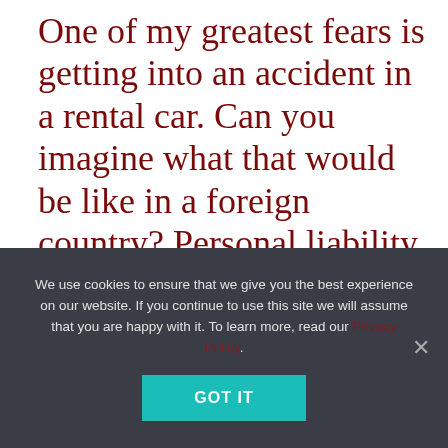One of my greatest fears is getting into an accident in a rental car. Can you imagine what that would be like in a foreign country? Personal liability coverage provides protection in this situation and at a more affordable rate than adding it to the cost of your rental car.
If you have a credit card designed for travelers, you may already have
We use cookies to ensure that we give you the best experience on our website. If you continue to use this site we will assume that you are happy with it. To learn more, read our Privacy Policy.